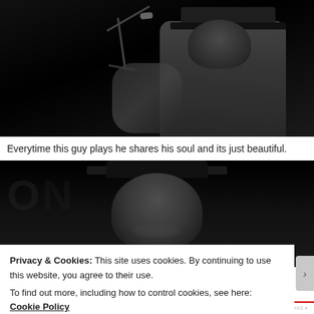[Figure (photo): Black and white photo of a male musician wearing a cowboy hat, playing guitar and singing into a microphone on stage against a dark background.]
Everytime this guy plays he shares his soul and its just beautiful.
[Figure (photo): Black and white photo of a man wearing a wide-brimmed hat, partially visible, dark background with faint lettering.]
Privacy & Cookies: This site uses cookies. By continuing to use this website, you agree to their use.
To find out more, including how to control cookies, see here: Cookie Policy
Close and accept